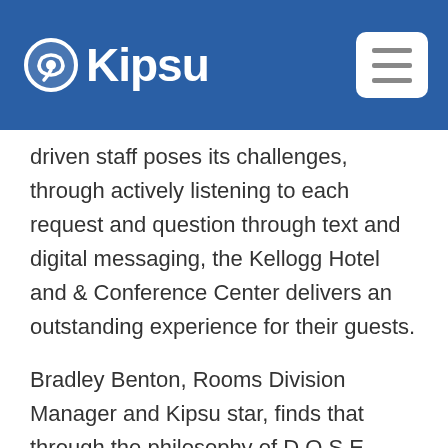Kipsu
driven staff poses its challenges, through actively listening to each request and question through text and digital messaging, the Kellogg Hotel and & Conference Center delivers an outstanding experience for their guests.
Bradley Benton, Rooms Division Manager and Kipsu star, finds that through the philosophy of D.O.S.E. (which- in true MSU style- stands for Delivering Outstanding Spartan Experiences) each guest can have a